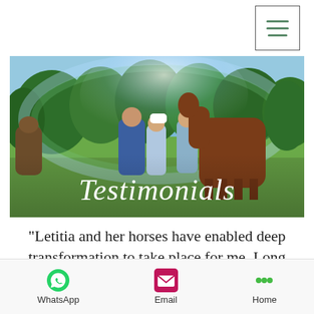[Figure (photo): Outdoor photo of people and horses standing on green grass with trees in background and a rainbow/lens flare effect, with 'Testimonials' text overlaid in italic white font]
"Letitia and her horses have enabled deep transformation to take place for me. Long
WhatsApp  Email  Home